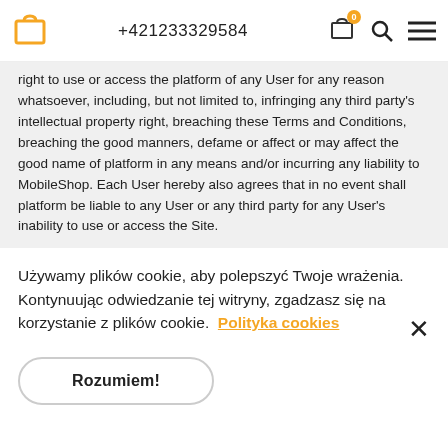+421233329584
right to use or access the platform of any User for any reason whatsoever, including, but not limited to, infringing any third party's intellectual property right, breaching these Terms and Conditions, breaching the good manners, defame or affect or may affect the good name of platform in any means and/or incurring any liability to MobileShop. Each User hereby also agrees that in no event shall platform be liable to any User or any third party for any User's inability to use or access the Site.
Używamy plików cookie, aby polepszyć Twoje wrażenia. Kontynuując odwiedzanie tej witryny, zgadzasz się na korzystanie z plików cookie. Polityka cookies